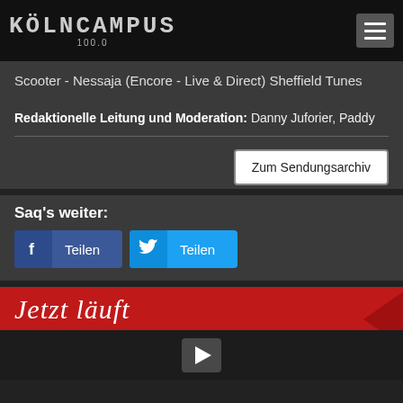KÖLNCAMPUS 100.0
Scooter - Nessaja (Encore - Live & Direct) Sheffield Tunes
Redaktionelle Leitung und Moderation: Danny Juforier, Paddy
Zum Sendungsarchiv
Saq's weiter:
Teilen Teilen
Jetzt läuft
[Figure (other): Video player with play button on dark background]